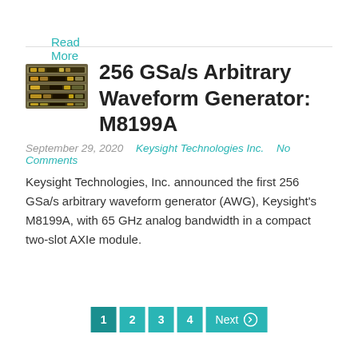Read More
256 GSa/s Arbitrary Waveform Generator: M8199A
September 29, 2020   Keysight Technologies Inc.   No Comments
Keysight Technologies, Inc. announced the first 256 GSa/s arbitrary waveform generator (AWG), Keysight's M8199A, with 65 GHz analog bandwidth in a compact two-slot AXIe module.
Read More